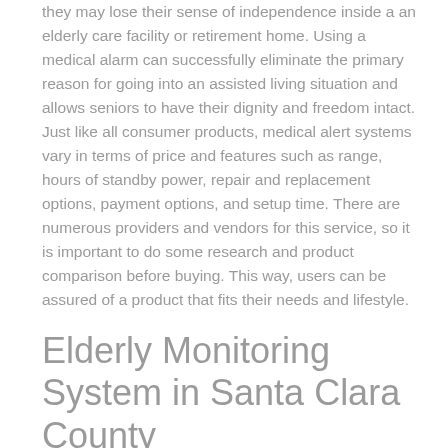they may lose their sense of independence inside a an elderly care facility or retirement home. Using a medical alarm can successfully eliminate the primary reason for going into an assisted living situation and allows seniors to have their dignity and freedom intact. Just like all consumer products, medical alert systems vary in terms of price and features such as range, hours of standby power, repair and replacement options, payment options, and setup time. There are numerous providers and vendors for this service, so it is important to do some research and product comparison before buying. This way, users can be assured of a product that fits their needs and lifestyle.
Elderly Monitoring System in Santa Clara County